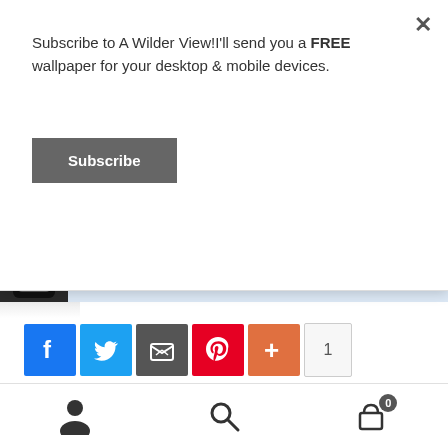Subscribe to A Wilder View!I'll send you a FREE wallpaper for your desktop & mobile devices.
Subscribe
[Figure (screenshot): Banner ad showing a mobile phone image with text 'for your desktop & mobile devices.' and a blue area with text 'Click here to subscribe' in bold italic]
[Figure (infographic): Social share buttons: Facebook (blue), Twitter (blue), Email (grey), Pinterest (red), Plus (orange), and a count badge showing 1]
Categories: Animals, Artists, Business, Digital Painting, Small Business
Tags: Animals, Business, Calgary, Calgary Expo,
[Figure (infographic): Bottom navigation toolbar with person icon, search icon, and shopping cart icon with badge showing 0]